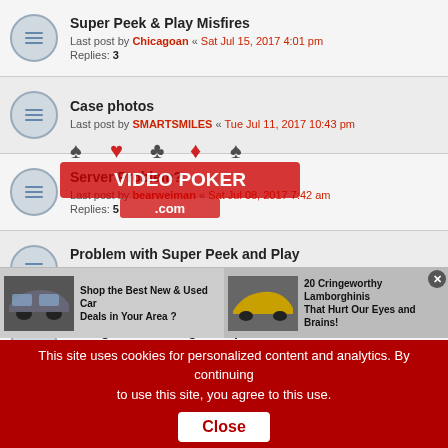Super Peek & Play Misfires
Last post by Chicagoan « Sat Jul 15, 2017 4:01 pm
Replies: 3
Case photos
Last post by SMARTSMILES « Tue Jul 11, 2017 10:43 pm
[Figure (logo): VIDEO POKER .com watermark logo overlay]
Server Problem?
Last post by bearweiman « Sat Jul 08, 2017 7:42 am
Replies: 5
Problem with Super Peek and Play
Last post by alpax « Wed May 03, 2017 1:09 pm
Replies: 7
new game--moving multipliers
Last post by Come Back Kid « Mon May 01, 2017 2:58 pm
Replies: 2
Ad too loud
Last post by rivergambler « Sun Apr 23, 2017 8:50 pm
Linking Live Links From You-Tube Videos
[Figure (screenshot): Advertisement banner: two ads side by side — 'Shop the Best New & Used Car Deals in Your Area?' and '20 Cringeworthy Lamborghinis That Hurt Our Eyes and Brains!']
This site uses cookies for personalized content and analytics. By continuing to use this site, you agree to this use. Close